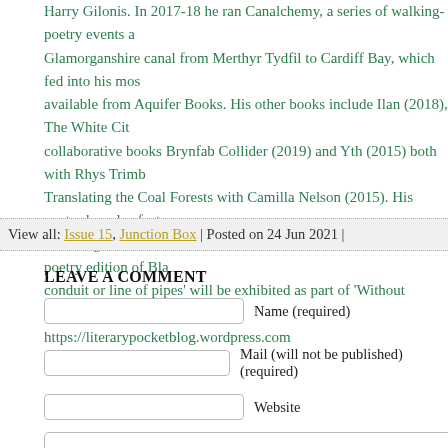Harry Gilonis. In 2017-18 he ran Canalchemy, a series of walking-poetry events along the Glamorganshire canal from Merthyr Tydfil to Cardiff Bay, which fed into his most recent book, available from Aquifer Books. His other books include Ilan (2018), The White City and collaborative books Brynfab Collider (2019) and Yth (2015) both with Rhys Trimble, and Translating the Coal Forests with Camilla Nelson (2015). His poetry has also featured in Ekleksographia and Imagined Invited, as well as the recent Welsh innovative poetry edition of Black Box. His 'canal as conduit or line of pipes' will be exhibited as part of 'Without Borders' curated by Rhys Trimble. https://literarypocketblog.wordpress.com
View all: Issue 15, Junction Box | Posted on 24 Jun 2021 |
LEAVE A COMMENT
Name (required)
Mail (will not be published) (required)
Website